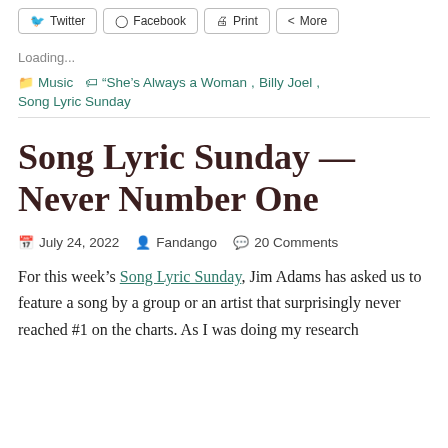Twitter  Facebook  Print  More
Loading...
Music  “She’s Always a Woman, Billy Joel, Song Lyric Sunday
Song Lyric Sunday — Never Number One
July 24, 2022  Fandango  20 Comments
For this week’s Song Lyric Sunday, Jim Adams has asked us to feature a song by a group or an artist that surprisingly never reached #1 on the charts. As I was doing my research